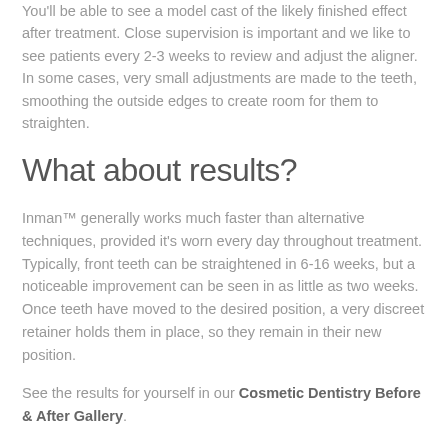You'll be able to see a model cast of the likely finished effect after treatment. Close supervision is important and we like to see patients every 2-3 weeks to review and adjust the aligner. In some cases, very small adjustments are made to the teeth, smoothing the outside edges to create room for them to straighten.
What about results?
Inman™ generally works much faster than alternative techniques, provided it's worn every day throughout treatment. Typically, front teeth can be straightened in 6-16 weeks, but a noticeable improvement can be seen in as little as two weeks. Once teeth have moved to the desired position, a very discreet retainer holds them in place, so they remain in their new position.
See the results for yourself in our Cosmetic Dentistry Before & After Gallery.
Are there any other benefits?